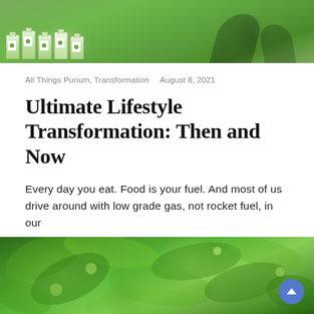[Figure (photo): Photo of Purium product bottles on green grass with shadows of people in background]
All Things Purium, Transformation  August 8, 2021
Ultimate Lifestyle Transformation: Then and Now
Every day you eat. Food is your fuel. And most of us drive around with low grade gas, not rocket fuel, in our
...
Leave a Comment
[Figure (photo): Photo of green tree canopy viewed from below against bright sky]